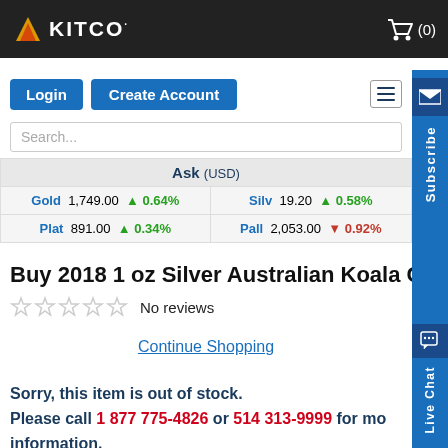KITCO  (0)
Login  Create Account
Search...
| Ask (USD) |
| --- |
| Gold  1,749.00  ▲0.64% | Silv  19.20  ▲0.58% |
| Plat  891.00  ▲0.34% | Pall  2,053.00  ▼0.92% |
Buy 2018 1 oz Silver Australian Koala Coin .9999
No reviews
Continue Shopping
Sorry, this item is out of stock. Please call 1 877 775-4826 or 514 313-9999 for more information.